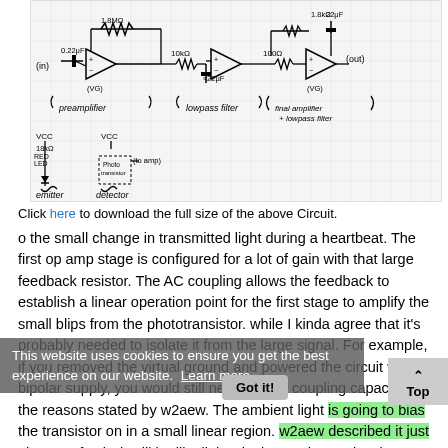[Figure (circuit-diagram): Hand-drawn circuit diagram showing preamplifier stage (0.22uF input cap, 1.8Mohm feedback resistor, op amp with Vcc bias), lowpass filter stage (10kΩ, 22uF, op amp), and final amplifier + lowpass filter stage (100Ω, 1.8kΩ feedback, 22uF, op amp, out). Below: emitter circuit with red LED and detector circuit with phototransistor (to amp).]
Click here to download the full size of the above Circuit.
o the small change in transmitted light during a heartbeat. The first op amp stage is configured for a lot of gain with that large feedback resistor. The AC coupling allows the feedback to establish a linear operation point for the first stage to amplify the small blips from the phototransistor. while I kinda agree that it's probably needed to isolate it from the large signal. For example, if you removed the virtual ground and powered the circuit with a bipolar supply, you would still need the AC coupling capacitor. for the reasons stated by w2aew. The ambient light is going to bias the transistor on in a small linear region. w2aew described it just about perfectly, it will be like little wiggles on the DC level, probably just a few microvolts, and the AC input capacitor will remove this BIAS
This website uses cookies to ensure you get the best experience on our website. Learn more